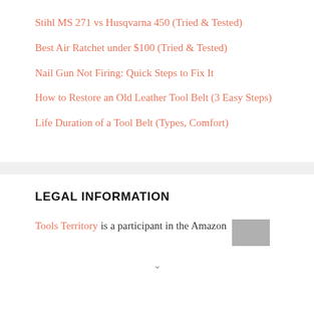Stihl MS 271 vs Husqvarna 450 (Tried & Tested)
Best Air Ratchet under $100 (Tried & Tested)
Nail Gun Not Firing: Quick Steps to Fix It
How to Restore an Old Leather Tool Belt (3 Easy Steps)
Life Duration of a Tool Belt (Types, Comfort)
LEGAL INFORMATION
Tools Territory is a participant in the Amazon